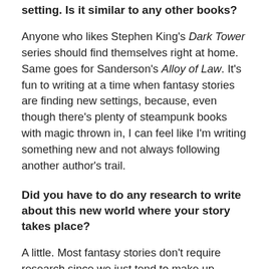setting. Is it similar to any other books?
Anyone who likes Stephen King's Dark Tower series should find themselves right at home. Same goes for Sanderson's Alloy of Law. It's fun to writing at a time when fantasy stories are finding new settings, because, even though there's plenty of steampunk books with magic thrown in, I can feel like I'm writing something new and not always following another author's trail.
Did you have to do any research to write about this new world where your story takes place?
A little. Most fantasy stories don't require research since we just tend to make up whatever we want, but I really loved the idea of planet with twin suns. I did just enough research on binary star systems to make sure the idea would work. Apparently, two suns would probably make